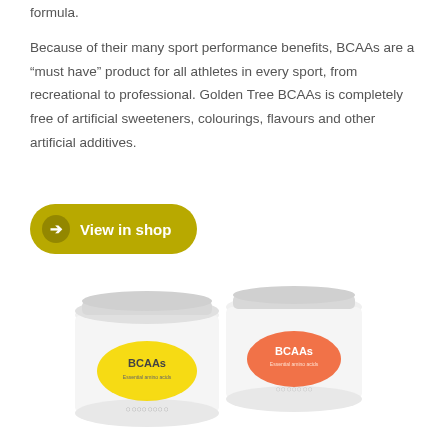formula.
Because of their many sport performance benefits, BCAAs are a “must have” product for all athletes in every sport, from recreational to professional. Golden Tree BCAAs is completely free of artificial sweeteners, colourings, flavours and other artificial additives.
[Figure (other): Yellow-green pill-shaped button with arrow icon and text 'View in shop']
[Figure (photo): Two white supplement jars with BCAAs labels — one with yellow label on the left and one with orange/red label on the right]